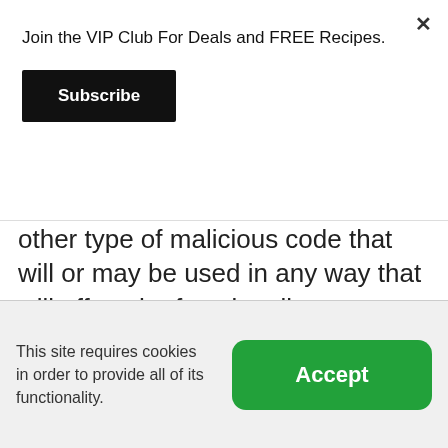Join the VIP Club For Deals and FREE Recipes.
Subscribe
other type of malicious code that will or may be used in any way that will affect the functionality or operation of the Service or of any related website, other websites, or the Internet; (h) to collect or track the personal information of others; (i) to spam, phish, pharm, pretext, spider, crawl, or scrape; (j) for any obscene or immoral purpose; or (k) to interfere
This site requires cookies in order to provide all of its functionality.
Accept